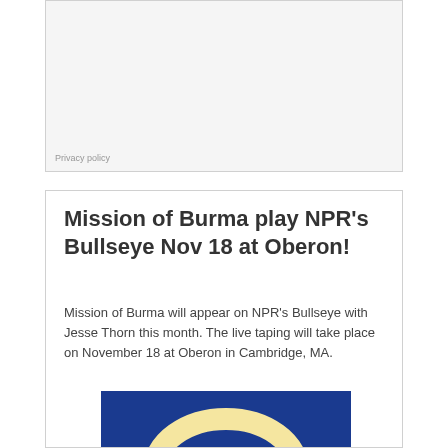Privacy policy
Mission of Burma play NPR’s Bullseye Nov 18 at Oberon!
Mission of Burma will appear on NPR’s Bullseye with Jesse Thorn this month. The live taping will take place on November 18 at Oberon in Cambridge, MA.
[Figure (photo): Blue background with a yellow/cream circular ring shape visible at the bottom of the image, partially cropped]